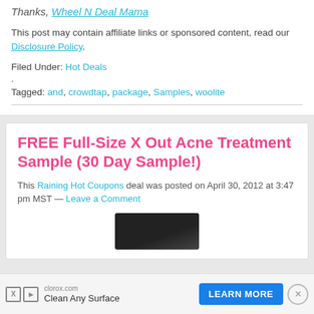Thanks, Wheel N Deal Mama
This post may contain affiliate links or sponsored content, read our Disclosure Policy.
Filed Under: Hot Deals
.
Tagged: and, crowdtap, package, Samples, woolite
FREE Full-Size X Out Acne Treatment Sample (30 Day Sample!)
This Raining Hot Coupons deal was posted on April 30, 2012 at 3:47 pm MST — Leave a Comment
[Figure (photo): Dark/black rounded product image thumbnail]
clorox.com Clean Any Surface LEARN MORE